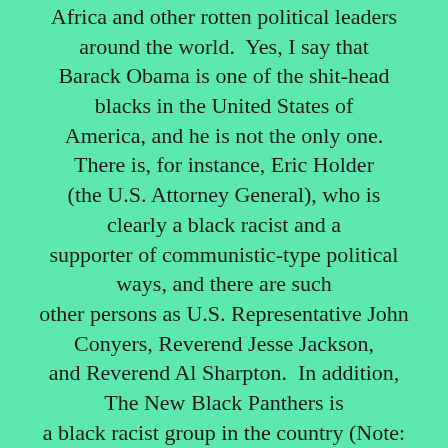Africa and other rotten political leaders around the world.  Yes, I say that Barack Obama is one of the shit-head blacks in the United States of America, and he is not the only one.  There is, for instance, Eric Holder (the U.S. Attorney General), who is clearly a black racist and a supporter of communistic-type political ways, and there are such other persons as U.S. Representative John Conyers, Reverend Jesse Jackson, and Reverend Al Sharpton.  In addition, The New Black Panthers is a black racist group in the country (Note: The Barack Obama administration dropped charges against some members of The New Black Panthers for violating some people's voting rights in 2008, such by using intimidation that suggested violence). There are others who could be named, but I will leave them out, given there are too many to count; for